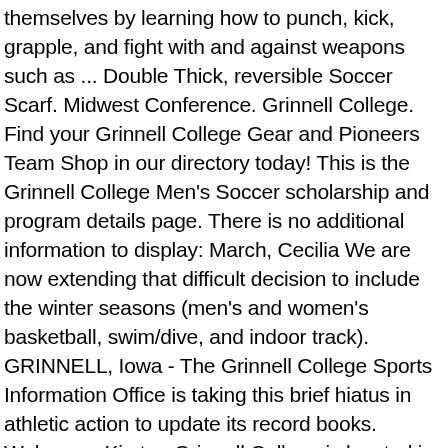themselves by learning how to punch, kick, grapple, and fight with and against weapons such as ... Double Thick, reversible Soccer Scarf. Midwest Conference. Grinnell College. Find your Grinnell College Gear and Pioneers Team Shop in our directory today! This is the Grinnell College Men's Soccer scholarship and program details page. There is no additional information to display: March, Cecilia We are now extending that difficult decision to include the winter seasons (men's and women's basketball, swim/dive, and indoor track). GRINNELL, Iowa - The Grinnell College Sports Information Office is taking this brief hiatus in athletic action to update its record books. Wehrman, Kirsten Grinnell College is located in Grinnell, IA and the Soccer program competes in the Midwest Conference conference. Learn how Grinnell College ranks across all of College Factual's 2021 rankings including Best Colleges Nationwide, Best Colleges for Your Money, Best Colleges in and the region, and Best Majors. Founded in 1846, we're a private, coed, residential liberal arts and sciences college located in Grinnell, Iowa.